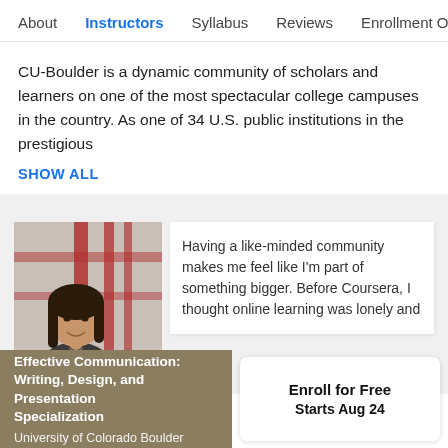About  Instructors  Syllabus  Reviews  Enrollment Opt
CU-Boulder is a dynamic community of scholars and learners on one of the most spectacular college campuses in the country. As one of 34 U.S. public institutions in the prestigious
SHOW ALL
[Figure (photo): Photo of a young woman with dark hair smiling, standing in front of red structural beams outdoors]
Having a like-minded community makes me feel like I'm part of something bigger. Before Coursera, I thought online learning was lonely and
Effective Communication: Writing, Design, and Presentation Specialization
University of Colorado Boulder
Enroll for Free
Starts Aug 24